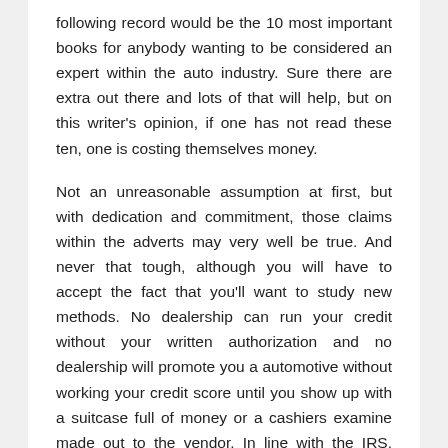following record would be the 10 most important books for anybody wanting to be considered an expert within the auto industry. Sure there are extra out there and lots of that will help, but on this writer's opinion, if one has not read these ten, one is costing themselves money.
Not an unreasonable assumption at first, but with dedication and commitment, those claims within the adverts may very well be true. And never that tough, although you will have to accept the fact that you'll want to study new methods. No dealership can run your credit without your written authorization and no dealership will promote you a automotive without working your credit score until you show up with a suitcase full of money or a cashiers examine made out to the vendor. In line with the IRS, taxpayers who file their returns early make fewer mistakes than